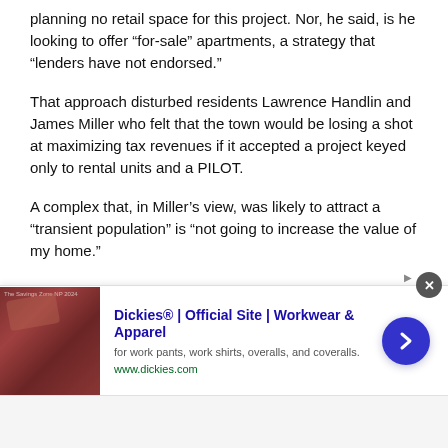planning no retail space for this project. Nor, he said, is he looking to offer “for-sale” apartments, a strategy that “lenders have not endorsed.”
That approach disturbed residents Lawrence Handlin and James Miller who felt that the town would be losing a shot at maximizing tax revenues if it accepted a project keyed only to rental units and a PILOT.
A complex that, in Miller’s view, was likely to attract a “transient population” is “not going to increase the value of my home.”
And Handlin, asserting that because, “we’re in a cycle now where [the town is] broke,” things will only get worse with the “potential” of the project generating more children on an already stressed public school system.
[Figure (other): Advertisement banner for Dickies Official Site - Workwear & Apparel, showing a red/brown background product image on the left, ad text in the middle, and a blue circular arrow button on the right. Close button (x) in top right corner.]